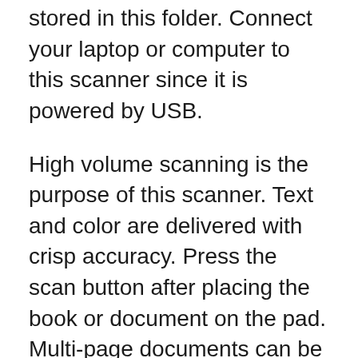stored in this folder. Connect your laptop or computer to this scanner since it is powered by USB.
High volume scanning is the purpose of this scanner. Text and color are delivered with crisp accuracy. Press the scan button after placing the book or document on the pad. Multi-page documents can be scanned in less than three seconds. The Fujitsu will continue scanning as soon as you turn the page.
Three advanced technologies are used by Fujitsu professional book scanners. The scanner automatically scans a page when it detects the user turning it. Software flattens images and eliminates scanned fingertips